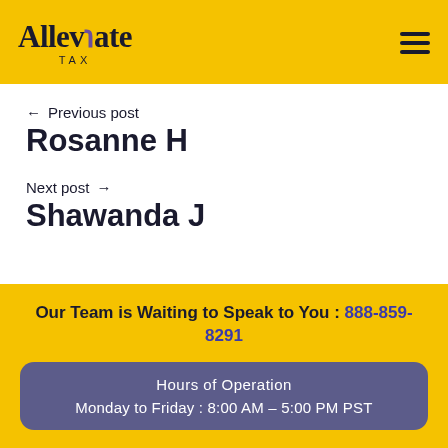Alleviate TAX
← Previous post
Rosanne H
Next post →
Shawanda J
Our Team is Waiting to Speak to You : 888-859-8291
Hours of Operation
Monday to Friday : 8:00 AM – 5:00 PM PST